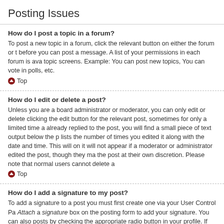Posting Issues
How do I post a topic in a forum?
To post a new topic in a forum, click the relevant button on either the forum or t before you can post a message. A list of your permissions in each forum is ava topic screens. Example: You can post new topics, You can vote in polls, etc.
Top
How do I edit or delete a post?
Unless you are a board administrator or moderator, you can only edit or delete clicking the edit button for the relevant post, sometimes for only a limited time a already replied to the post, you will find a small piece of text output below the p lists the number of times you edited it along with the date and time. This will on it will not appear if a moderator or administrator edited the post, though they ma the post at their own discretion. Please note that normal users cannot delete a
Top
How do I add a signature to my post?
To add a signature to a post you must first create one via your User Control Pa Attach a signature box on the posting form to add your signature. You can also posts by checking the appropriate radio button in your profile. If you do so, you added to individual posts by un-checking the add signature box within the posti
Top